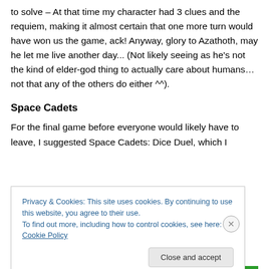to solve – At that time my character had 3 clues and the requiem, making it almost certain that one more turn would have won us the game, ack! Anyway, glory to Azathoth, may he let me live another day... (Not likely seeing as he's not the kind of elder-god thing to actually care about humans…not that any of the others do either ^^).
Space Cadets
For the final game before everyone would likely have to leave, I suggested Space Cadets: Dice Duel, which I
Privacy & Cookies: This site uses cookies. By continuing to use this website, you agree to their use.
To find out more, including how to control cookies, see here: Cookie Policy
Close and accept